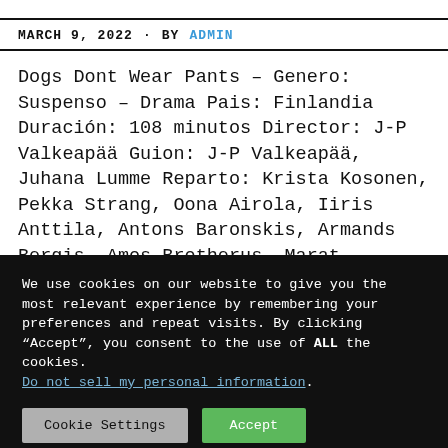MARCH 9, 2022  BY ADMIN
Dogs Dont Wear Pants – Genero: Suspenso – Drama Pais: Finlandia Duración: 108 minutos Director: J-P Valkeapää Guion: J-P Valkeapää, Juhana Lumme Reparto: Krista Kosonen, Pekka Strang, Oona Airola, Iiris Anttila, Antons Baronskis, Armands Bergis, Amos Brotherus, Marat Efendijev, Laine Kate Ertmane, Aleksandrs Garins, Ester Geislerova, Ilona Huhta, Viivi
We use cookies on our website to give you the most relevant experience by remembering your preferences and repeat visits. By clicking “Accept”, you consent to the use of ALL the cookies.
Do not sell my personal information.